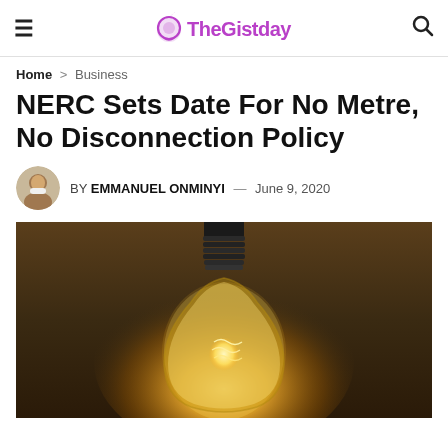TheGistday
Home > Business
NERC Sets Date For No Metre, No Disconnection Policy
BY EMMANUEL ONMINYI — June 9, 2020
[Figure (photo): A glowing incandescent light bulb against a dark wooden background, with warm golden light emanating from the filament]